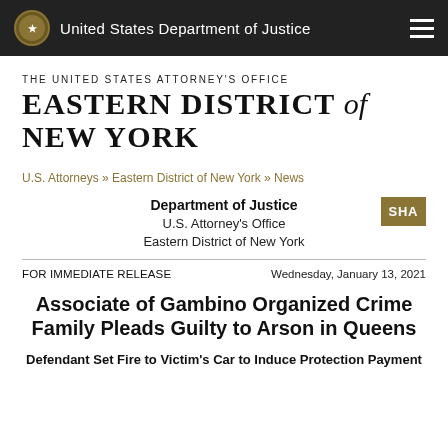United States Department of Justice
THE UNITED STATES ATTORNEY'S OFFICE
EASTERN DISTRICT of NEW YORK
U.S. Attorneys » Eastern District of New York » News
Department of Justice
U.S. Attorney's Office
Eastern District of New York
FOR IMMEDIATE RELEASE
Wednesday, January 13, 2021
Associate of Gambino Organized Crime Family Pleads Guilty to Arson in Queens
Defendant Set Fire to Victim's Car to Induce Protection Payment